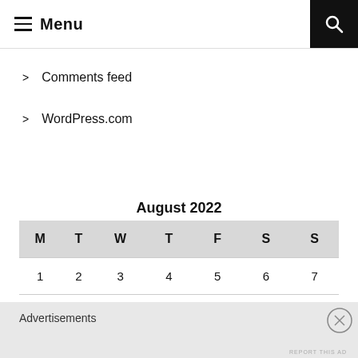Menu
Comments feed
WordPress.com
| M | T | W | T | F | S | S |
| --- | --- | --- | --- | --- | --- | --- |
| 1 | 2 | 3 | 4 | 5 | 6 | 7 |
| 8 | 9 | 10 | 11 | 12 | 13 | 14 |
August 2022
Advertisements